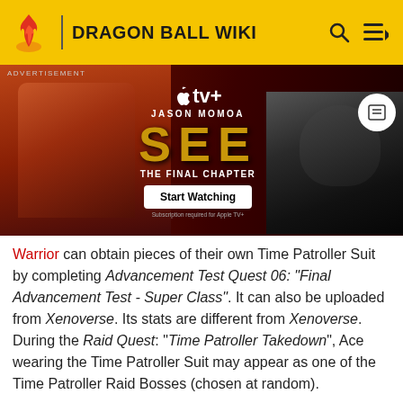DRAGON BALL WIKI
[Figure (screenshot): Advertisement banner for Apple TV+ show 'SEE: The Final Chapter' starring Jason Momoa, with a 'Start Watching' button]
Warrior can obtain pieces of their own Time Patroller Suit by completing Advancement Test Quest 06: "Final Advancement Test - Super Class". It can also be uploaded from Xenoverse. Its stats are different from Xenoverse. During the Raid Quest: "Time Patroller Takedown", Ace wearing the Time Patroller Suit may appear as one of the Time Patroller Raid Bosses (chosen at random).
Additionally, some Time Patroller NPCs can be seen